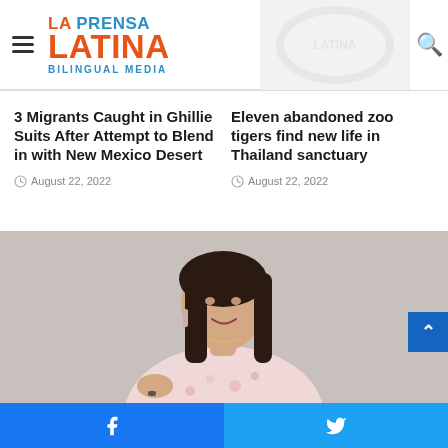La Prensa Latina - Bilingual Media
3 Migrants Caught in Ghillie Suits After Attempt to Blend in with New Mexico Desert
August 22, 2022
Eleven abandoned zoo tigers find new life in Thailand sanctuary
August 22, 2022
[Figure (photo): Young woman with dark hair, wearing a floral dress and tassel earrings, smiling downward, pointing with finger]
Facebook | Twitter social share bar